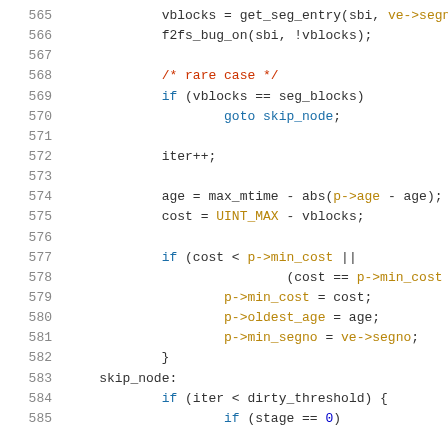[Figure (screenshot): Source code listing (C language) showing lines 565-585 of a file system implementation (f2fs), with syntax highlighting: line numbers in gray, keywords in blue, comments in red, identifiers and structure members in dark gold/olive, default code in dark color.]